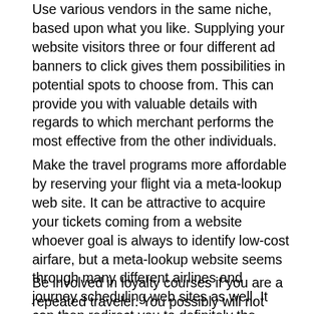Use various vendors in the same niche, based upon what you like. Supplying your website visitors three or four different ad banners to click gives them possibilities in potential spots to choose from. This can provide you with valuable details with regards to which merchant performs the most effective from the other individuals.
Make the travel programs more affordable by reserving your flight via a meta-lookup web site. It can be attractive to acquire your tickets coming from a website whoever goal is always to identify low-cost airfare, but a meta-lookup website seems through many different airlines and journey scheduling web sites as well. It can then redirect you to definitely the internet site which includes the retail price you want, saving you money.
Be involved in loyalty courses if you are a repeated traveler. You possibly will not foresee having the capacity to cash in, however these applications often accumulate